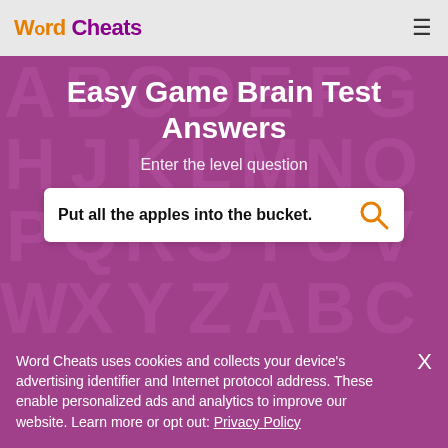Word Cheats
Easy Game Brain Test Answers
Enter the level question
Put all the apples into the bucket.
Word Cheats uses cookies and collects your device's advertising identifier and Internet protocol address. These enable personalized ads and analytics to improve our website. Learn more or opt out: Privacy Policy